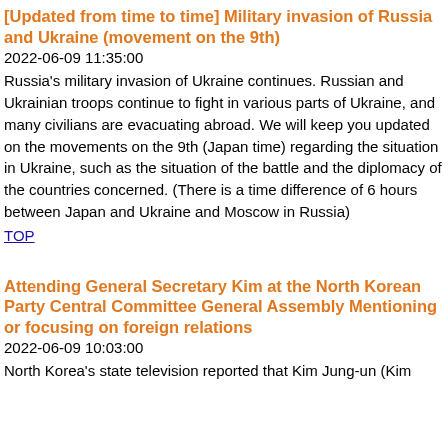[Updated from time to time] Military invasion of Russia and Ukraine (movement on the 9th)
2022-06-09 11:35:00
Russia's military invasion of Ukraine continues. Russian and Ukrainian troops continue to fight in various parts of Ukraine, and many civilians are evacuating abroad. We will keep you updated on the movements on the 9th (Japan time) regarding the situation in Ukraine, such as the situation of the battle and the diplomacy of the countries concerned. (There is a time difference of 6 hours between Japan and Ukraine and Moscow in Russia)
TOP
Attending General Secretary Kim at the North Korean Party Central Committee General Assembly Mentioning or focusing on foreign relations
2022-06-09 10:03:00
North Korea's state television reported that Kim Jung-un (Kim